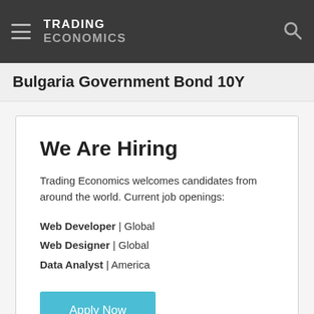TRADING ECONOMICS
Bulgaria Government Bond 10Y
We Are Hiring
Trading Economics welcomes candidates from around the world. Current job openings:
Web Developer | Global
Web Designer | Global
Data Analyst | America
Apply Now